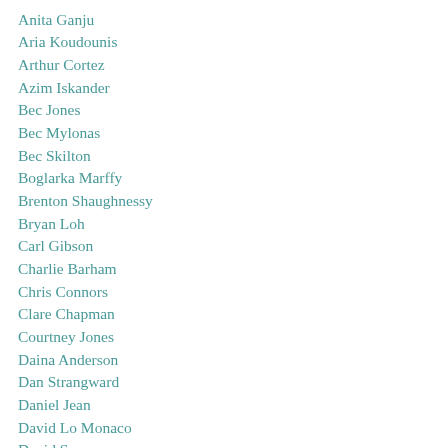Anita Ganju
Aria Koudounis
Arthur Cortez
Azim Iskander
Bec Jones
Bec Mylonas
Bec Skilton
Boglarka Marffy
Brenton Shaughnessy
Bryan Loh
Carl Gibson
Charlie Barham
Chris Connors
Clare Chapman
Courtney Jones
Daina Anderson
Dan Strangward
Daniel Jean
David Lo Monaco
David Spencer
Dominic Bui
Eddie Goldsmith
Edward Wann